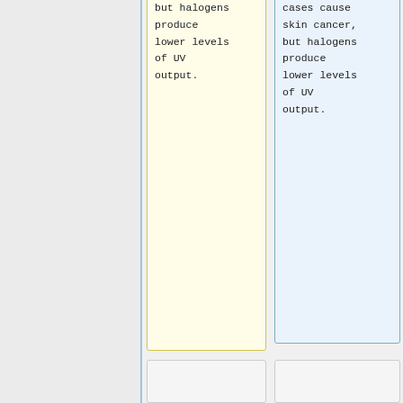but halogens produce lower levels of UV output.
cases cause skin cancer, but halogens produce lower levels of UV output.
With modern fittings and bulbs this is not an issue since all the bulbs commonly available now have a UV absorbing coating, or
With modern fittings and bulbs this is not an issue since all the bulbs commonly available now have a UV absorbing coating, or